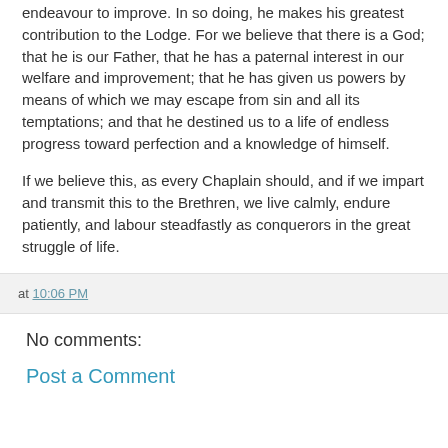endeavour to improve. In so doing, he makes his greatest contribution to the Lodge. For we believe that there is a God; that he is our Father, that he has a paternal interest in our welfare and improvement; that he has given us powers by means of which we may escape from sin and all its temptations; and that he destined us to a life of endless progress toward perfection and a knowledge of himself.
If we believe this, as every Chaplain should, and if we impart and transmit this to the Brethren, we live calmly, endure patiently, and labour steadfastly as conquerors in the great struggle of life.
at 10:06 PM
No comments:
Post a Comment